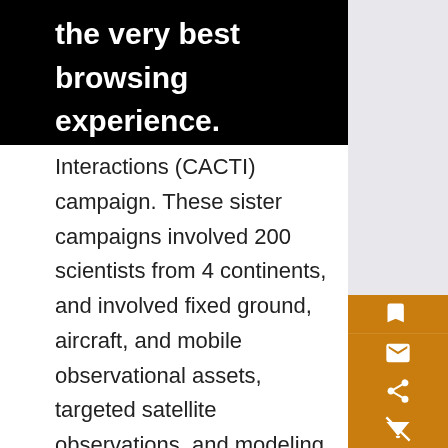the very best browsing experience.
Interactions (CACTI) campaign. These sister campaigns involved 200 scientists from 4 continents, and involved fixed ground, aircraft, and mobile observational assets, targeted satellite observations, and modeling components. These campaigns produced an unparalleled dataset involving many aspects of the intense